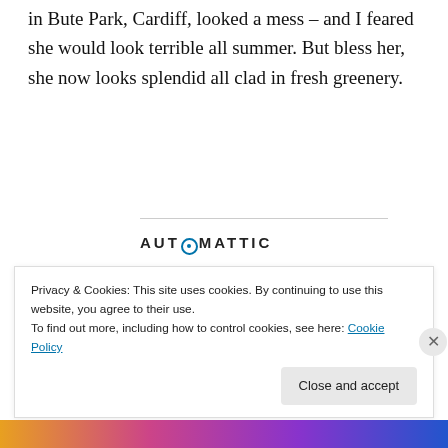in Bute Park, Cardiff, looked a mess – and I feared she would look terrible all summer. But bless her, she now looks splendid all clad in fresh greenery.
[Figure (logo): Automattic logo with circular compass-style O]
[Figure (infographic): Automattic ad: Build a better web and a better world. Apply button. Photo of man thinking.]
Privacy & Cookies: This site uses cookies. By continuing to use this website, you agree to their use.
To find out more, including how to control cookies, see here: Cookie Policy
Close and accept